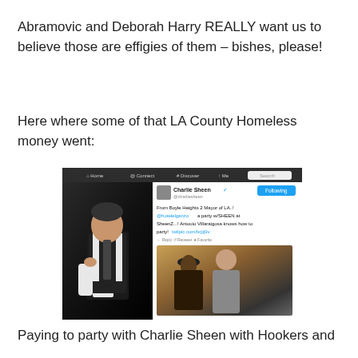Abramovic and Deborah Harry REALLY want us to believe those are effigies of them – bishes, please!
Here where some of that LA County Homeless money went:
[Figure (screenshot): Screenshot of a Twitter/social media page showing Charlie Sheen's verified Twitter account with a tweet reading 'From Boyle Heights 2 Mayor of LA..! @hotelelganzo a party w/SHEEN at SheenZ...! Antouio Villaraigosa knows how to party! twilpic.com/bcjij9v' alongside a photo of two men in formal wear, and a promotional photo of a man in a black vest.]
Paying to party with Charlie Sheen with Hookers and